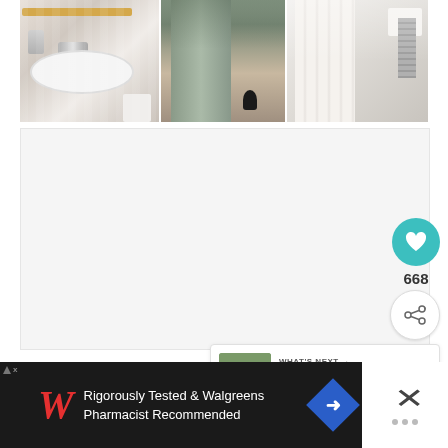[Figure (photo): Three-panel bathroom photo: left panel shows a white pedestal sink with chrome faucet and wooden shelf, middle panel shows a bathroom hallway/door with tile floor and black trash can, right panel shows a shower curtain and towel rail with hanging white towel.]
[Figure (screenshot): White/light gray content area (article body placeholder), with a teal heart button showing heart icon, a count of 668, and a share button icon below.]
668
[Figure (screenshot): WHAT'S NEXT card with thumbnail of a house and text 'Gorgeous stone clad...']
WHAT'S NEXT → Gorgeous stone clad...
[Figure (screenshot): Advertisement banner with black background: Walgreens red W logo, text 'Rigorously Tested & Walgreens Pharmacist Recommended', blue diamond arrow icon, and close X button on white panel.]
Rigorously Tested & Walgreens Pharmacist Recommended